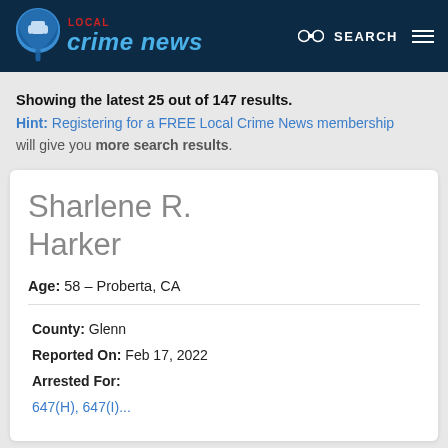LOCAL Crime News — SEARCH
Showing the latest 25 out of 147 results.
Hint: Registering for a FREE Local Crime News membership will give you more search results.
Sharlene R. Harker
Age: 58 – Proberta, CA
County: Glenn
Reported On: Feb 17, 2022
Arrested For:
647(H), 647(I)...